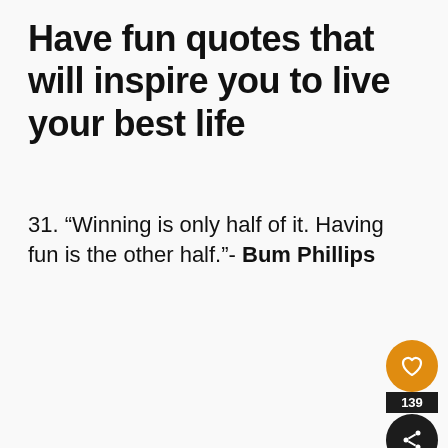Have fun quotes that will inspire you to live your best life
31. “Winning is only half of it. Having fun is the other half.”- Bum Phillips
[Figure (infographic): Social media UI overlay: heart/like button (orange circle), count badge showing 139, share button (dark circle with share icon), and What's Next banner showing 'Deep Quotes & Powerful...']